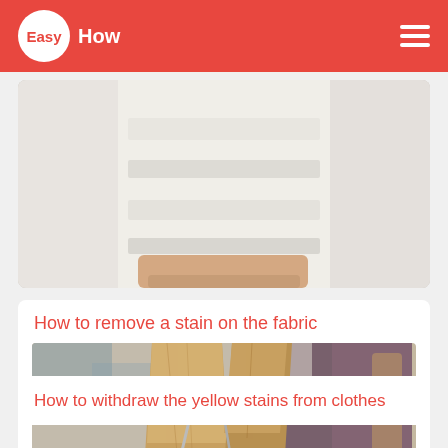Easy How
[Figure (photo): Person holding white folded towels or fabric, close-up photo]
How to remove a stain on the fabric
[Figure (photo): Close-up of a wooden clothespin clipping dark colored fabric, blurred background with colorful items]
How to withdraw the yellow stains from clothes